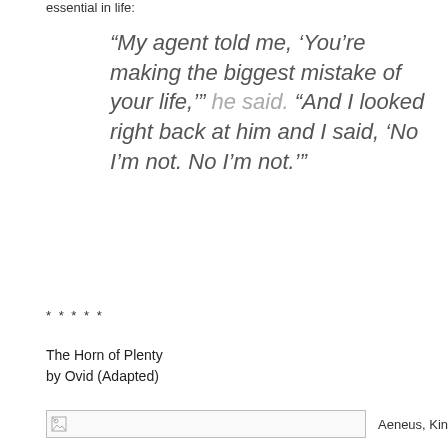essential in life:
“My agent told me, ‘You’re making the biggest mistake of your life,’” he said. “And I looked right back at him and I said, ‘No I’m not. No I’m not.’”
* * * * *
The Horn of Plenty
by Ovid (Adapted)
[Figure (photo): Image placeholder with broken image icon, followed by text 'Aeneus, King']